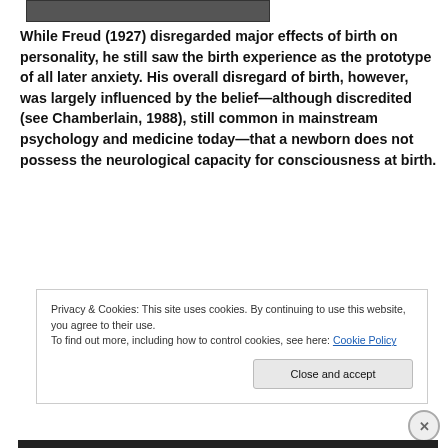[Figure (photo): Partial black and white photograph, only bottom edge visible as a dark strip]
While Freud (1927) disregarded major effects of birth on personality, he still saw the birth experience as the prototype of all later anxiety. His overall disregard of birth, however, was largely influenced by the belief—although discredited (see Chamberlain, 1988), still common in mainstream psychology and medicine today—that a newborn does not possess the neurological capacity for consciousness at birth.
Privacy & Cookies: This site uses cookies. By continuing to use this website, you agree to their use.
To find out more, including how to control cookies, see here: Cookie Policy
Close and accept